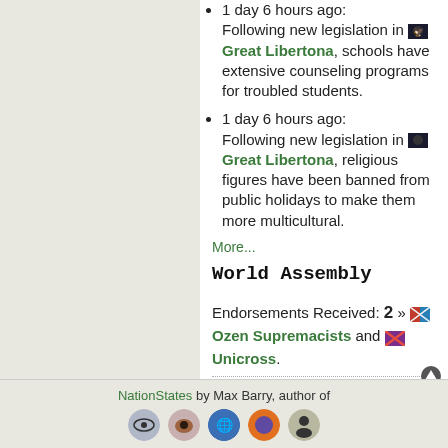1 day 6 hours ago: Following new legislation in Great Libertona, schools have extensive counseling programs for troubled students.
1 day 6 hours ago: Following new legislation in Great Libertona, religious figures have been banned from public holidays to make them more multicultural.
More...
World Assembly
Endorsements Received: 2 » Ozen Supremacists and Unicross.
Report
NationStates by Max Barry, author of